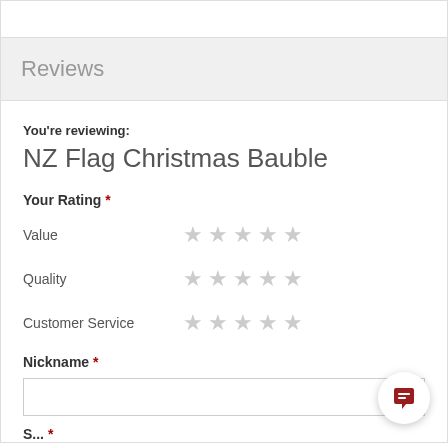Reviews
You're reviewing:
NZ Flag Christmas Bauble
Your Rating *
Value ★★★★★
Quality ★★★★★
Customer Service ★★★★★
Nickname *
S... *